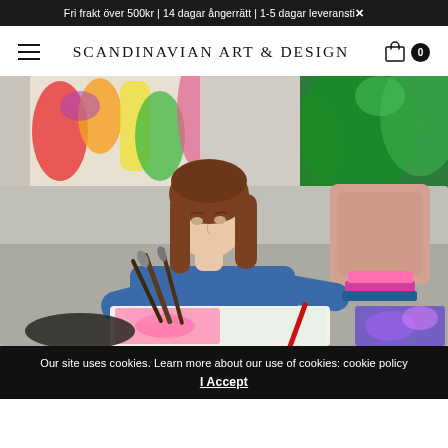Fri frakt över 500kr | 14 dagar ångerrätt | 1-5 dagar leveranstid ✕
SCANDINAVIAN ART & DESIGN
[Figure (photo): Young woman with long brown hair wearing a blue denim jacket, sitting on a grey sofa, drawing or painting in a sketchbook with colorful abstract artwork visible on the wall behind her and brushes in the foreground]
Our site uses cookies. Learn more about our use of cookies: cookie policy
I Accept